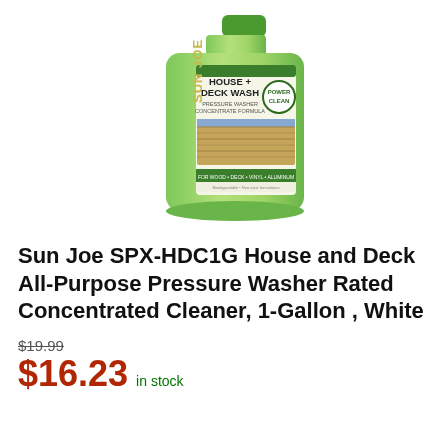[Figure (photo): Sun Joe SPX-HDC1G House + Deck Wash Pressure Washer Concentrate Formula product bottle, light green in color, with label showing 'SUN JOE', 'HOUSE + DECK WASH', 'PRESSURE WASHER CONCENTRATE FORMULA', and 'POWER CLEAN' badge.]
Sun Joe SPX-HDC1G House and Deck All-Purpose Pressure Washer Rated Concentrated Cleaner, 1-Gallon , White
$19.99
$16.23 in stock